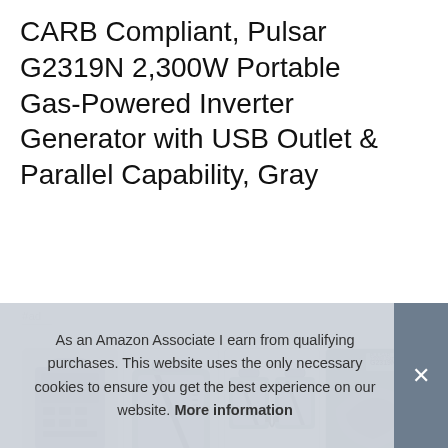CARB Compliant, Pulsar G2319N 2,300W Portable Gas-Powered Inverter Generator with USB Outlet & Parallel Capability, Gray
#ad
[Figure (photo): Four product images of the Pulsar G2319N portable inverter generator shown from different angles: back panel view, side/front view, two units connected in parallel, and close-up detail shot with model label visible]
Pulsar...
lbs |...
As an Amazon Associate I earn from qualifying purchases. This website uses the only necessary cookies to ensure you get the best experience on our website. More information